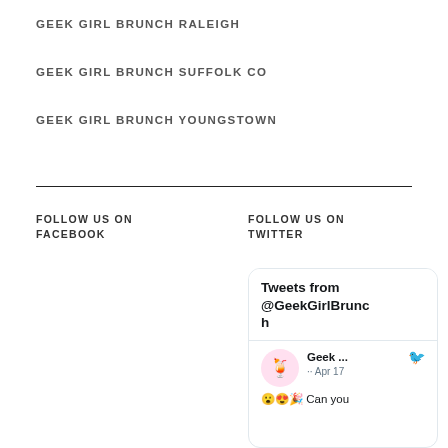GEEK GIRL BRUNCH RALEIGH
GEEK GIRL BRUNCH SUFFOLK CO
GEEK GIRL BRUNCH YOUNGSTOWN
FOLLOW US ON FACEBOOK
FOLLOW US ON TWITTER
[Figure (screenshot): Twitter widget showing 'Tweets from @GeekGirlBrunch' with a tweet from Geek... dated Apr 17 and emoji text 'Can you']